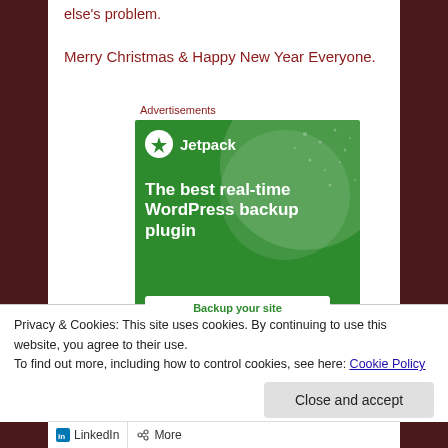else's problem.
Merry Christmas & Happy New Year Everyone.
Advertisements
[Figure (illustration): Jetpack advertisement banner on green background. Shows Jetpack logo with lightning bolt icon, text 'The best real-time WordPress backup plugin', and a 'Backup your site' button at the bottom.]
Privacy & Cookies: This site uses cookies. By continuing to use this website, you agree to their use.
To find out more, including how to control cookies, see here: Cookie Policy
Close and accept
LinkedIn  More